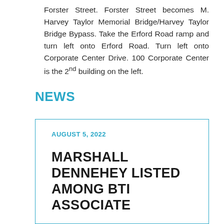Forster Street. Forster Street becomes M. Harvey Taylor Memorial Bridge/Harvey Taylor Bridge Bypass. Take the Erford Road ramp and turn left onto Erford Road. Turn left onto Corporate Center Drive. 100 Corporate Center is the 2nd building on the left.
NEWS
AUGUST 5, 2022
MARSHALL DENNEHEY LISTED AMONG BTI ASSOCIATE